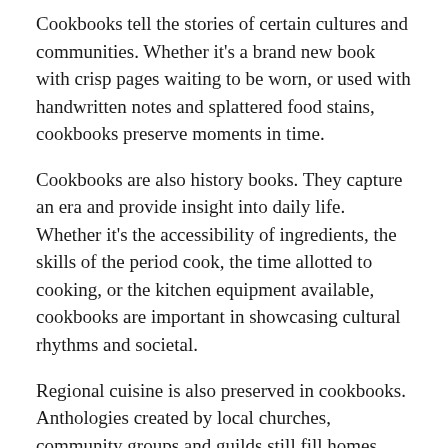Cookbooks tell the stories of certain cultures and communities. Whether it's a brand new book with crisp pages waiting to be worn, or used with handwritten notes and splattered food stains, cookbooks preserve moments in time.
Cookbooks are also history books. They capture an era and provide insight into daily life. Whether it's the accessibility of ingredients, the skills of the period cook, the time allotted to cooking, or the kitchen equipment available, cookbooks are important in showcasing cultural rhythms and societal.
Regional cuisine is also preserved in cookbooks. Anthologies created by local churches, community groups and guilds still fill homes across the country today. These collections come from groups of people who exhibit regional lifestyles and hyper-targeted cuisine.
Totally different from the 21st century cookbook, the mid-20th century cookbook feels like a novel. Illustrated with drawings rather than photos, the books are mostly filled with words: